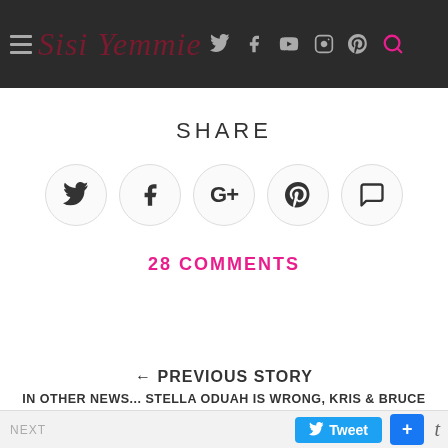Sisi Yemmie
SHARE
[Figure (infographic): Social share buttons: Twitter, Facebook, Google+, Pinterest, Comments]
28 COMMENTS
← PREVIOUS STORY
IN OTHER NEWS... STELLA ODUAH IS WRONG, KRIS & BRUCE JENNER SEPARATING & FOLORUNSHO ALAKIJA AS THE RICHEST BLACK WO...
Tweet + t